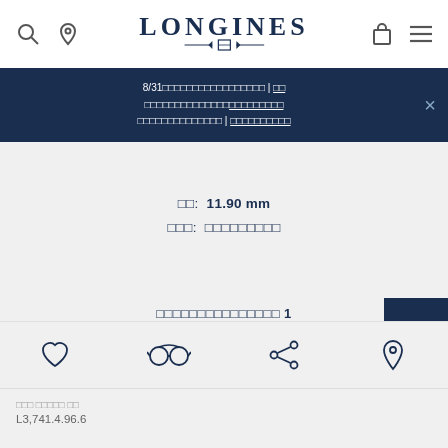LONGINES
8/31□□□□□□□□□□□□□□□□□ | □□ □□□□□□□□□□□□□□□□□□□□□ □□□□□□□□□□□□□□ | □□□□□□□□□□
□□: 11.90 mm
□□□: □□□□□□□□□
□□□□□□□□□□□□□□□ 1
□□□ □□□□□ □□
L3,741.4.96.6